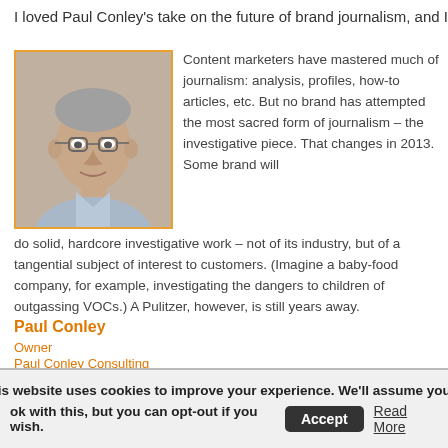I loved Paul Conley's take on the future of brand journalism, and I think it's a
[Figure (photo): Headshot photo of Paul Conley, a middle-aged man with glasses, short gray hair, wearing a light blue shirt, shown from shoulders up]
Content marketers have mastered much of journalism: analysis, profiles, how-to articles, etc. But no brand has attempted the most sacred form of journalism – the investigative piece. That changes in 2013. Some brand will do solid, hardcore investigative work – not of its industry, but of a tangential subject of interest to customers. (Imagine a baby-food company, for example, investigating the dangers to children of outgassing VOCs.) A Pulitzer, however, is still years away.
Paul Conley
Owner
Paul Conley Consulting
And while the journalist skill set in a company's marketing and publishing dep doesn't necessarily mean a successful content marketing department.
This website uses cookies to improve your experience. We'll assume you're ok with this, but you can opt-out if you wish.  Accept  Read More